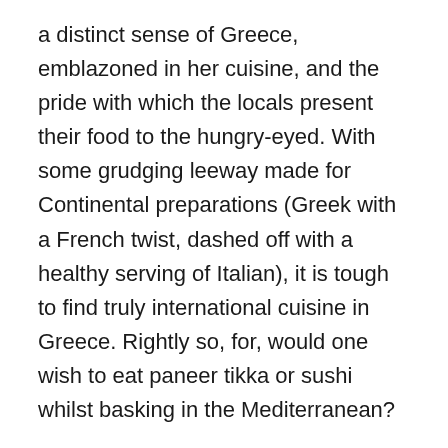a distinct sense of Greece, emblazoned in her cuisine, and the pride with which the locals present their food to the hungry-eyed. With some grudging leeway made for Continental preparations (Greek with a French twist, dashed off with a healthy serving of Italian), it is tough to find truly international cuisine in Greece. Rightly so, for, would one wish to eat paneer tikka or sushi whilst basking in the Mediterranean?
Strolling down Athens' Adrianou Street, a merry pedestrian path, in the vicinity of Plaka, I am spoilt for options. A host of family-run restaurants and street cafés vie for attention, as lissome Greek men prowl around attempting to charm a wayward tourist into their culinary lair. Uncles, brothers and nephews are all out in full force, with wickedly greasy smiles pasted on for the unsuspecting visitor who hovers expectantly at the entrance, flipping pages of their